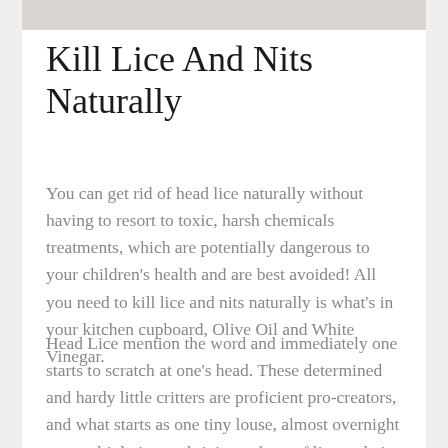[Figure (photo): Partial image strip at top of page, showing a cropped photograph with gray/light tones]
Kill Lice And Nits Naturally
You can get rid of head lice naturally without having to resort to toxic, harsh chemicals treatments, which are potentially dangerous to your children's health and are best avoided! All you need to kill lice and nits naturally is what's in your kitchen cupboard, Olive Oil and White Vinegar.
Head Lice mention the word and immediately one starts to scratch at one's head. These determined and hardy little critters are proficient pro-creators, and what starts as one tiny louse, almost overnight can multiply into a thriving colony of lice and nits (eggs).